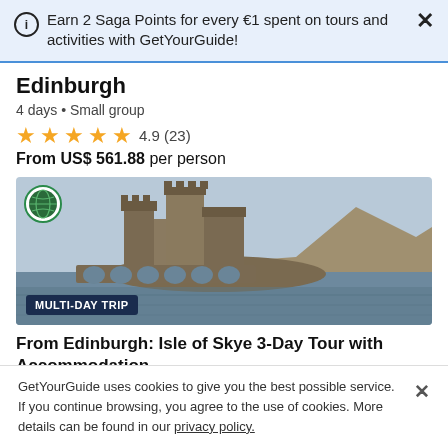Earn 2 Saga Points for every €1 spent on tours and activities with GetYourGuide!
Edinburgh
4 days • Small group
★★★★★ 4.9 (23)
From US$ 561.88 per person
[Figure (photo): Scottish castle (Eilean Donan) reflected in a loch with a stone bridge, mountains in background. Globe logo overlay top left. Badge reading MULTI-DAY TRIP bottom left.]
From Edinburgh: Isle of Skye 3-Day Tour with Accommodation
GetYourGuide uses cookies to give you the best possible service. If you continue browsing, you agree to the use of cookies. More details can be found in our privacy policy.